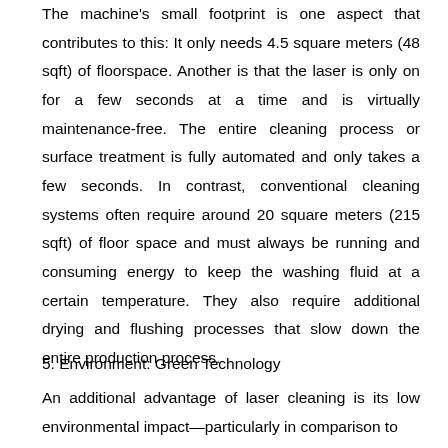The machine's small footprint is one aspect that contributes to this: It only needs 4.5 square meters (48 sqft) of floorspace. Another is that the laser is only on for a few seconds at a time and is virtually maintenance-free. The entire cleaning process or surface treatment is fully automated and only takes a few seconds. In contrast, conventional cleaning systems often require around 20 square meters (215 sqft) of floor space and must always be running and consuming energy to keep the washing fluid at a certain temperature. They also require additional drying and flushing processes that slow down the entire production process.
5. Environment: Green Technology
An additional advantage of laser cleaning is its low environmental impact—particularly in comparison to